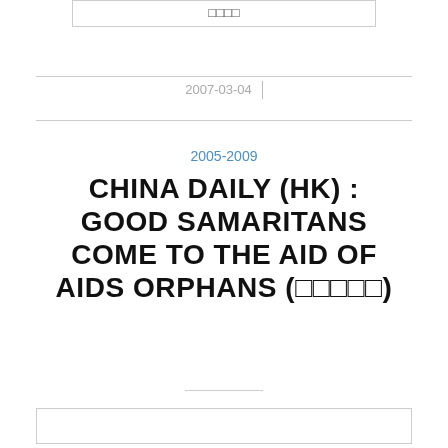□□□□
2007-03-04
2005-2009
CHINA DAILY (HK) : GOOD SAMARITANS COME TO THE AID OF AIDS ORPHANS (□□□□□)